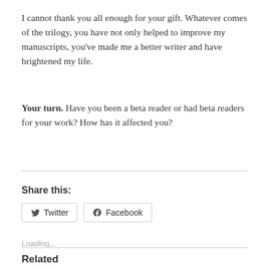I cannot thank you all enough for your gift. Whatever comes of the trilogy, you have not only helped to improve my manuscripts, you've made me a better writer and have brightened my life.
Your turn. Have you been a beta reader or had beta readers for your work? How has it affected you?
Share this:
Loading...
Related